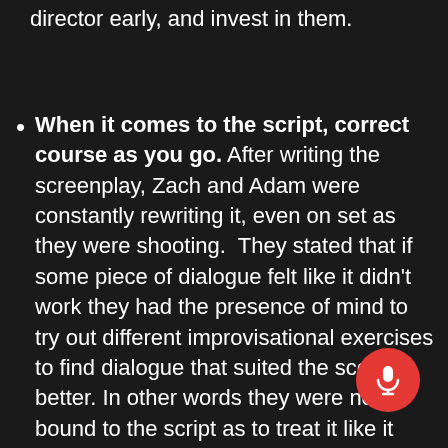that help with funding. Find a casting director early, and invest in them.
When it comes to the script, correct course as you go. After writing the screenplay, Zach and Adam were constantly rewriting it, even on set as they were shooting.  They stated that if some piece of dialogue felt like it didn't work they had the presence of mind to try out different improvisational exercises to find dialogue that suited the scene better. In other words they were not so bound to the script as to treat it like it was the Bible. This really is a testament to being as present as possible on set and adapting